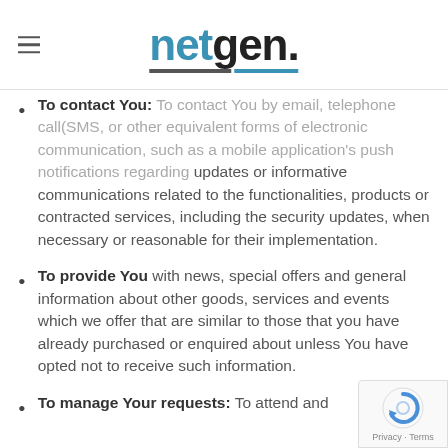netgen.
To contact You: To contact You by email, telephone calls, SMS, or other equivalent forms of electronic communication, such as a mobile application's push notifications regarding updates or informative communications related to the functionalities, products or contracted services, including the security updates, when necessary or reasonable for their implementation.
To provide You with news, special offers and general information about other goods, services and events which we offer that are similar to those that you have already purchased or enquired about unless You have opted not to receive such information.
To manage Your requests: To attend and...